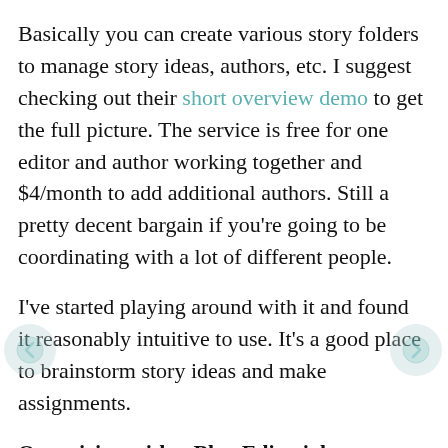Basically you can create various story folders to manage story ideas, authors, etc. I suggest checking out their short overview demo to get the full picture. The service is free for one editor and author working together and $4/month to add additional authors. Still a pretty decent bargain if you're going to be coordinating with a lot of different people.
I've started playing around with it and found it reasonably intuitive to use. It's a good place to brainstorm story ideas and make assignments.
Organizing with a Blog Editorial